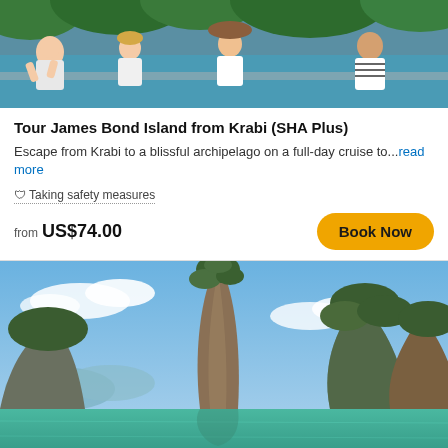[Figure (photo): Group of tourists on a boat with green water and tropical scenery in background]
Tour James Bond Island from Krabi (SHA Plus)
Escape from Krabi to a blissful archipelago on a full-day cruise to... read more
🛡 Taking safety measures
from US$74.00
Book Now
[Figure (photo): Dramatic limestone karst tower rising from turquoise water at Phang Nga Bay (James Bond Island), blue sky with clouds]
Premium Sea Canoeing Trip at Phang Nga Bay Speed...